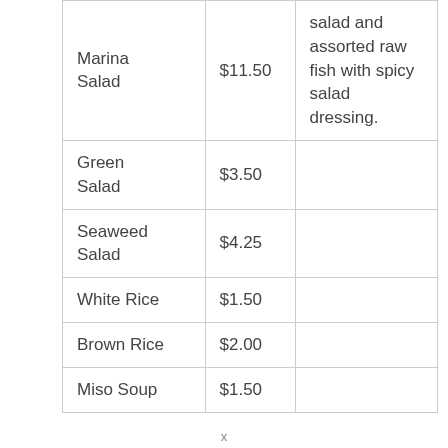| Marina Salad | $11.50 | salad and assorted raw fish with spicy salad dressing. |
| Green Salad | $3.50 |  |
| Seaweed Salad | $4.25 |  |
| White Rice | $1.50 |  |
| Brown Rice | $2.00 |  |
| Miso Soup | $1.50 |  |